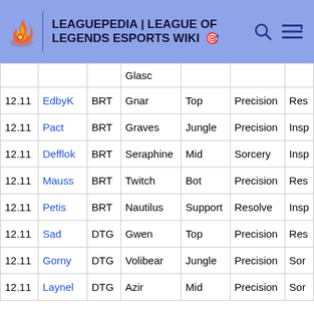LEAGUEPEDIA | LEAGUE OF LEGENDS ESPORTS WIKI
|  | Player | Team | Champion | Role | Rune1 | Rune2 |
| --- | --- | --- | --- | --- | --- | --- |
|  |  |  | Glasc |  |  |  |
| 12.11 | EdbyK | BRT | Gnar | Top | Precision | Res |
| 12.11 | Pact | BRT | Graves | Jungle | Precision | Insp |
| 12.11 | Defflok | BRT | Seraphine | Mid | Sorcery | Insp |
| 12.11 | Mauss | BRT | Twitch | Bot | Precision | Res |
| 12.11 | Petis | BRT | Nautilus | Support | Resolve | Insp |
| 12.11 | Sad | DTG | Gwen | Top | Precision | Res |
| 12.11 | Gorny | DTG | Volibear | Jungle | Precision | Sor |
| 12.11 | Laynel | DTG | Azir | Mid | Precision | Sor |